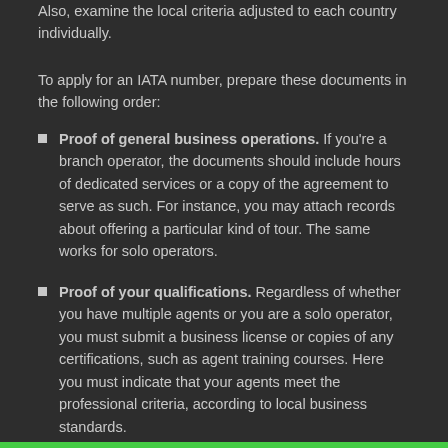Also, examine the local criteria adjusted to each country individually.
To apply for an IATA number, prepare these documents in the following order:
Proof of general business operations. If you're a branch operator, the documents should include hours of dedicated services or a copy of the agreement to serve as such. For instance, you may attach records about offering a particular kind of tour. The same works for solo operators.
Proof of your qualifications. Regardless of whether you have multiple agents or you are a solo operator, you must submit a business license or copies of any certifications, such as agent training courses. Here you must indicate that your agents meet the professional criteria, according to local business standards.